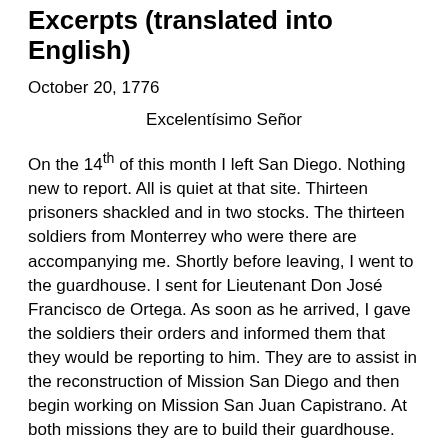Excerpts (translated into English)
October 20, 1776
Excelentísimo Señor
On the 14th of this month I left San Diego. Nothing new to report. All is quiet at that site. Thirteen prisoners shackled and in two stocks. The thirteen soldiers from Monterrey who were there are accompanying me. Shortly before leaving, I went to the guardhouse. I sent for Lieutenant Don José Francisco de Ortega. As soon as he arrived, I gave the soldiers their orders and informed them that they would be reporting to him. They are to assist in the reconstruction of Mission San Diego and then begin working on Mission San Juan Capistrano. At both missions they are to build their guardhouse. They are to assist the Fathers in whatever manner possible. Even though I am not ordering them to prepare the mud and make adobe bricks, there are always many other tasks and ways in which they